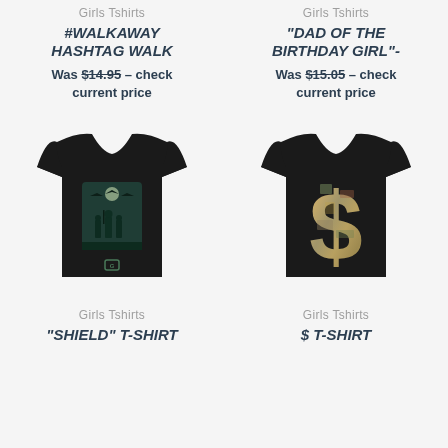Girls Tshirts
#WALKAWAY HASHTAG WALK
Was $14.95 – check current price
Girls Tshirts
"DAD OF THE BIRTHDAY GIRL"-
Was $15.05 – check current price
[Figure (photo): Black t-shirt with military soldiers silhouette and aircraft graphic, shield logo on chest]
[Figure (photo): Black t-shirt with large dollar sign made of money/currency collage graphic]
Girls Tshirts
"SHIELD" T-SHIRT
Girls Tshirts
$ T-SHIRT